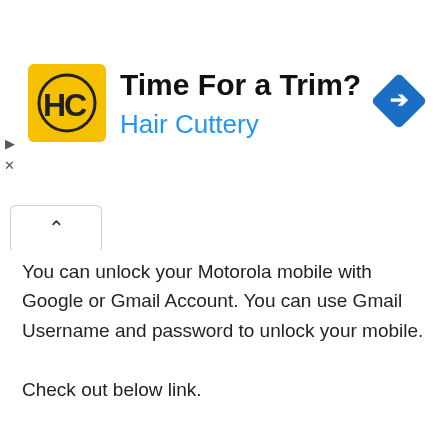[Figure (infographic): Hair Cuttery advertisement banner with logo (yellow square with HC initials), headline 'Time For a Trim?', subtitle 'Hair Cuttery' in blue, and a blue navigation diamond icon on the right. Small play and close controls on the left edge.]
You can unlock your Motorola mobile with Google or Gmail Account. You can use Gmail Username and password to unlock your mobile.

Check out below link.
Unlock Motorola with Google Account